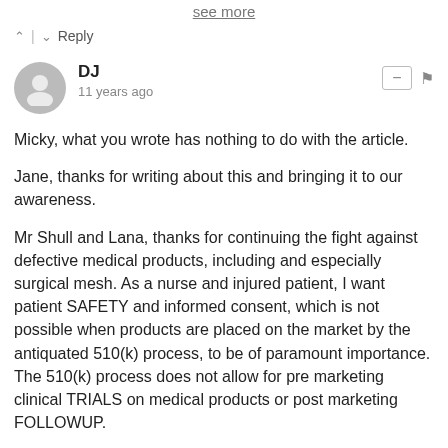see more
^ | v   Reply
DJ
11 years ago
Micky, what you wrote has nothing to do with the article.

Jane, thanks for writing about this and bringing it to our awareness.

Mr Shull and Lana, thanks for continuing the fight against defective medical products, including and especially surgical mesh. As a nurse and injured patient, I want patient SAFETY and informed consent, which is not possible when products are placed on the market by the antiquated 510(k) process, to be of paramount importance. The 510(k) process does not allow for pre marketing clinical TRIALS on medical products or post marketing FOLLOWUP.

These members of Congress should be very ashamed of themselves for placing higher value on industry than on patients, including their constitutieInts, their own families and selves. How dare Senator Rogers not make time for "reports